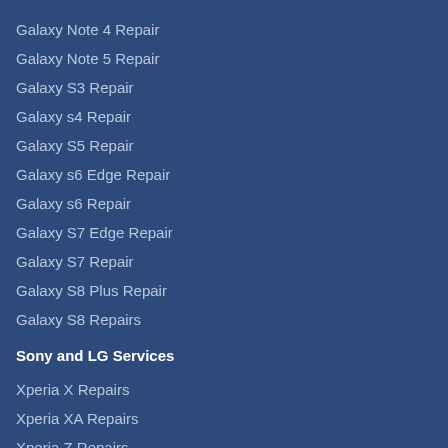Galaxy Note 4 Repair
Galaxy Note 5 Repair
Galaxy S3 Repair
Galaxy s4 Repair
Galaxy S5 Repair
Galaxy s6 Edge Repair
Galaxy s6 Repair
Galaxy S7 Edge Repair
Galaxy S7 Repair
Galaxy S8 Plus Repair
Galaxy S8 Repairs
Sony and LG Services
Xperia X Repairs
Xperia XA Repairs
Xperia Z Repairs